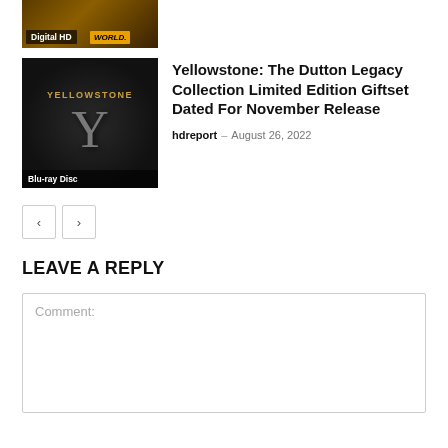[Figure (photo): Movie/show thumbnail with Digital HD label and WORLD badge, partial crop at top]
[Figure (photo): Yellowstone Blu-ray Disc cover showing a large stylized Y letter on dark background with YELLOWSTONE title text]
Yellowstone: The Dutton Legacy Collection Limited Edition Giftset Dated For November Release
hdreport - August 26, 2022
< >
LEAVE A REPLY
Comment: